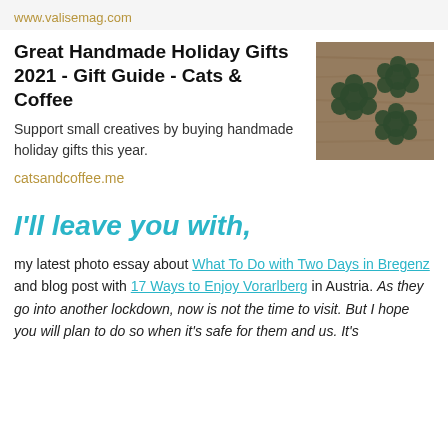www.valisemag.com
Great Handmade Holiday Gifts 2021 - Gift Guide - Cats & Coffee
[Figure (photo): Photo of dark green crocheted flower-shaped items on a wooden surface]
Support small creatives by buying handmade holiday gifts this year.
catsandcoffee.me
I'll leave you with,
my latest photo essay about What To Do with Two Days in Bregenz and blog post with 17 Ways to Enjoy Vorarlberg in Austria. As they go into another lockdown, now is not the time to visit. But I hope you will plan to do so when it's safe for them and us. It's